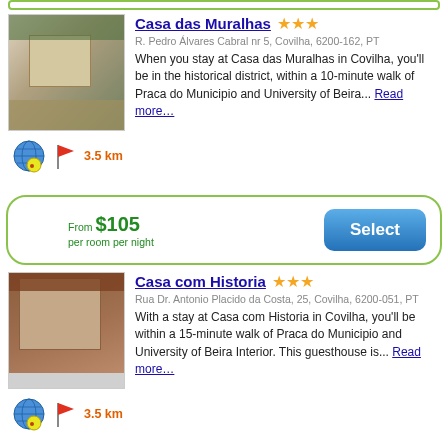Casa das Muralhas ★★★
R. Pedro Álvares Cabral nr 5, Covilha, 6200-162, PT
When you stay at Casa das Muralhas in Covilha, you'll be in the historical district, within a 10-minute walk of Praca do Municipio and University of Beira... Read more…
3.5 km
From $105 per room per night
Select
Casa com Historia ★★★
Rua Dr. Antonio Placido da Costa, 25, Covilha, 6200-051, PT
With a stay at Casa com Historia in Covilha, you'll be within a 15-minute walk of Praca do Municipio and University of Beira Interior. This guesthouse is... Read more…
3.5 km